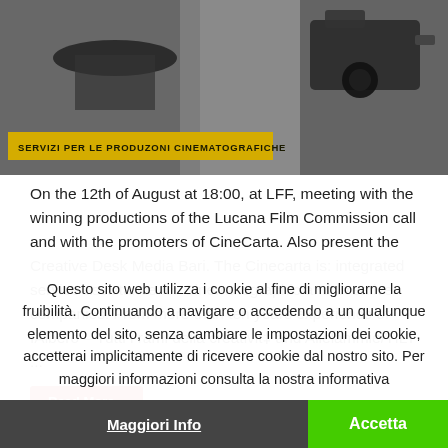[Figure (photo): Black and white photograph of a person with a hat and a professional video camera, with a yellow banner overlay reading 'SERVIZI PER LE PRODUZONI CINEMATOGRAFICHE']
On the 12th of August at 18:00, at LFF, meeting with the winning productions of the Lucana Film Commission call and with the promoters of CineCarta. Also present the Creative Desk Media Bari. The Cinecarta is: integrated service assistance for Cinematographic and Creative companies. From more than ten years experience of ìAlbero – Tutti i rami della creativit‡ and Allelammie/TILT ...
Read More »
Questo sito web utilizza i cookie al fine di migliorarne la fruibilità. Continuando a navigare o accedendo a un qualunque elemento del sito, senza cambiare le impostazioni dei cookie, accetterai implicitamente di ricevere cookie dal nostro sito. Per maggiori informazioni consulta la nostra informativa
Maggiori Info
Accetta